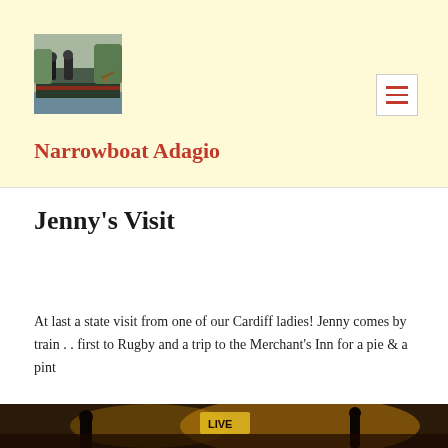[Figure (photo): Two people standing on a narrowboat on a canal, boat is dark green/black with red trim]
Narrowboat Adagio
Jenny's Visit
At last a state visit from one of our Cardiff ladies! Jenny comes by train . . first to Rugby and a trip to the Merchant's Inn for a pie & a pint
[Figure (photo): Bottom portion of a photograph, partially visible, showing a scene with a LIVE sign]